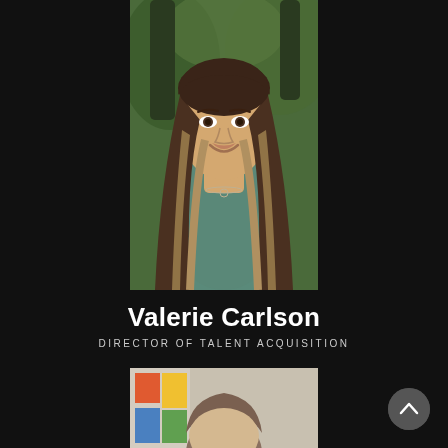[Figure (photo): Portrait photo of Valerie Carlson, a woman with long straight ombre hair (dark brown to blonde), wearing a teal/green t-shirt with a small necklace, smiling, standing outdoors with trees and greenery in the background.]
Valerie Carlson
DIRECTOR OF TALENT ACQUISITION
[Figure (photo): Partial portrait photo of another person (man with short brown hair), partially visible at the bottom of the page, appearing to be in an indoor setting with colorful artwork in the background.]